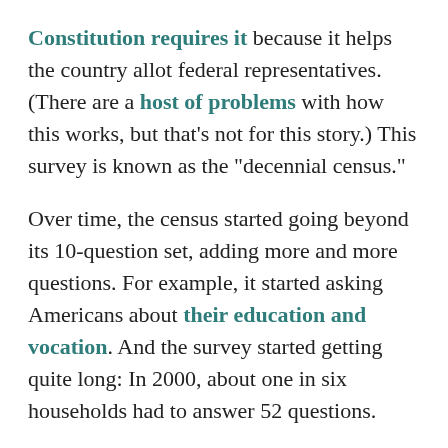Constitution requires it because it helps the country allot federal representatives. (There are a host of problems with how this works, but that's not for this story.) This survey is known as the "decennial census."
Over time, the census started going beyond its 10-question set, adding more and more questions. For example, it started asking Americans about their education and vocation. And the survey started getting quite long: In 2000, about one in six households had to answer 52 questions.
These "longform" surveys existed until the 2000 census. For the 2010 census, everything was simplified back to 10 questions. The other questions, like when people first came to America or